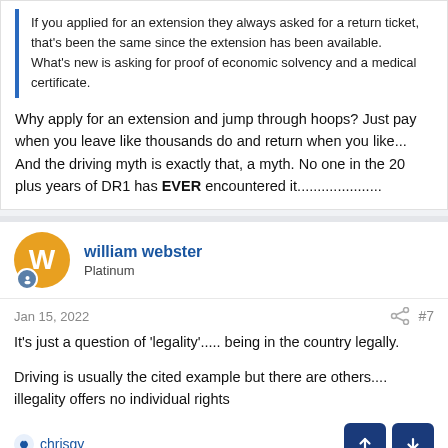If you applied for an extension they always asked for a return ticket, that's been the same since the extension has been available. What's new is asking for proof of economic solvency and a medical certificate.
Why apply for an extension and jump through hoops? Just pay when you leave like thousands do and return when you like...
And the driving myth is exactly that, a myth. No one in the 20 plus years of DR1 has EVER encountered it.....................
william webster
Platinum
Jan 15, 2022
#7
It's just a question of 'legality'..... being in the country legally.

Driving is usually the cited example but there are others.... illegality offers no individual rights
chrisgy